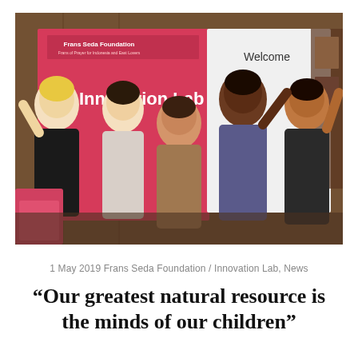[Figure (photo): Group photo of five people posing and smiling in front of a pink/red banner reading 'Frans Seda Foundation Innovation Lab' and a white banner reading 'Welcome'. The people are making fun poses with raised hands.]
1 May 2019 Frans Seda Foundation / Innovation Lab, News
“Our greatest natural resource is the minds of our children”